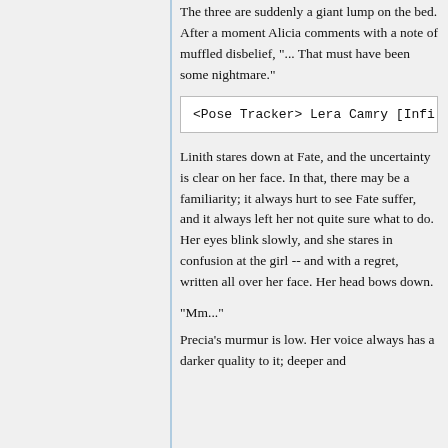The three are suddenly a giant lump on the bed. After a moment Alicia comments with a note of muffled disbelief, "... That must have been some nightmare."
<Pose Tracker> Lera Camry [Infi
Linith stares down at Fate, and the uncertainty is clear on her face. In that, there may be a familiarity; it always hurt to see Fate suffer, and it always left her not quite sure what to do. Her eyes blink slowly, and she stares in confusion at the girl -- and with a regret, written all over her face. Her head bows down.
"Mm..."
Precia's murmur is low. Her voice always has a darker quality to it; deeper and